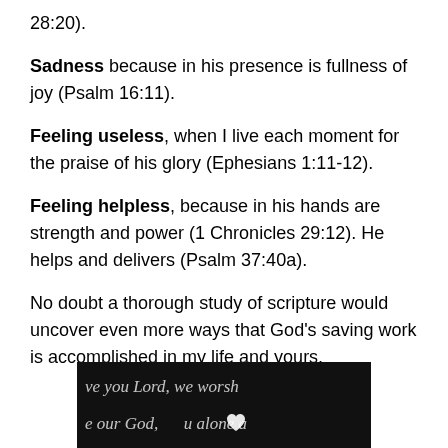28:20).
Sadness because in his presence is fullness of joy (Psalm 16:11).
Feeling useless, when I live each moment for the praise of his glory (Ephesians 1:11-12).
Feeling helpless, because in his hands are strength and power (1 Chronicles 29:12). He helps and delivers (Psalm 37:40a).
No doubt a thorough study of scripture would uncover even more ways that God's saving work is accomplished in my life and yours.
[Figure (photo): Dark background image with cursive white text reading 've you Lord, we worsh' on top line and 'e our God, [heart symbol] u alone a' on bottom line]